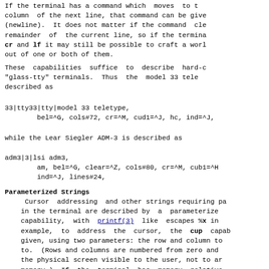If the terminal has a command which moves to the column of the next line, that command can be given (newline). It does not matter if the command clears remainder of the current line, so if the terminal has cr and lf it may still be possible to craft a workaround out of one or both of them.
These capabilities suffice to describe hard-copy "glass-tty" terminals. Thus the model 33 teletype is described as
33|tty33|tty|model 33 teletype,
        bel=^G, cols#72, cr=^M, cud1=^J, hc, ind=^J,
while the Lear Siegler ADM-3 is described as
adm3|3|lsi adm3,
        am, bel=^G, clear=^Z, cols#80, cr=^M, cub1=^H
        ind=^J, lines#24,
Parameterized Strings
Cursor addressing and other strings requiring parameters in the terminal are described by a parameterized capability, with printf(3) like escapes %x in. For example, to address the cursor, the cup capability is given, using two parameters: the row and column to move to. (Rows and columns are numbered from zero and refer to the physical screen visible to the user, not to any memory.) If the terminal has memory relative addressing, that can be indicated by mrcup.